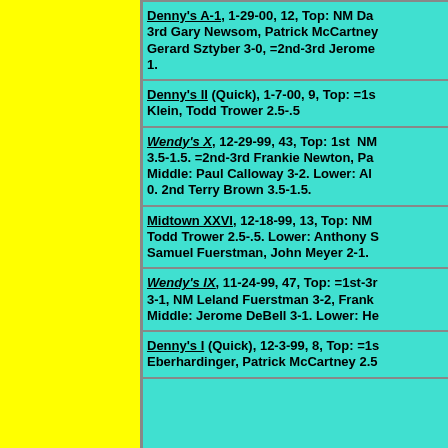Denny's A-1, 1-29-00, 12, Top: NM Da... 3rd Gary Newsom, Patrick McCartney... Gerard Sztyber 3-0, =2nd-3rd Jerome... 1.
Denny's II (Quick), 1-7-00, 9, Top: =1s... Klein, Todd Trower 2.5-.5
Wendy's X, 12-29-99, 43, Top: 1st NM... 3.5-1.5. =2nd-3rd Frankie Newton, Pa... Middle: Paul Calloway 3-2. Lower: Al... 0. 2nd Terry Brown 3.5-1.5.
Midtown XXVI, 12-18-99, 13, Top: NM... Todd Trower 2.5-.5. Lower: Anthony S... Samuel Fuerstman, John Meyer 2-1.
Wendy's IX, 11-24-99, 47, Top: =1st-3r... 3-1, NM Leland Fuerstman 3-2, Frank... Middle: Jerome DeBell 3-1. Lower: He...
Denny's I (Quick), 12-3-99, 8, Top: =1s... Eberhardinger, Patrick McCartney 2.5...